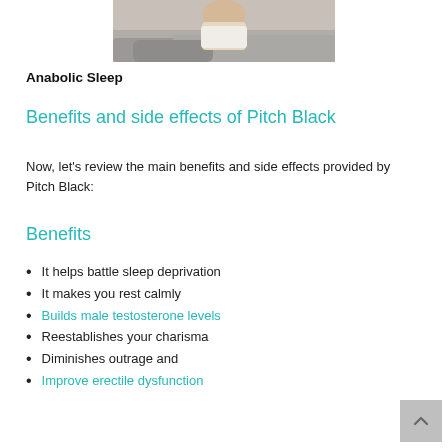[Figure (photo): Person lying in bed, sleeping, covered with grey blankets, viewed from above/side]
Anabolic Sleep
Benefits and side effects of Pitch Black
Now, let's review the main benefits and side effects provided by Pitch Black:
Benefits
It helps battle sleep deprivation
It makes you rest calmly
Builds male testosterone levels
Reestablishes your charisma
Diminishes outrage and
Improve erectile dysfunction
Diminishes testosterone decline